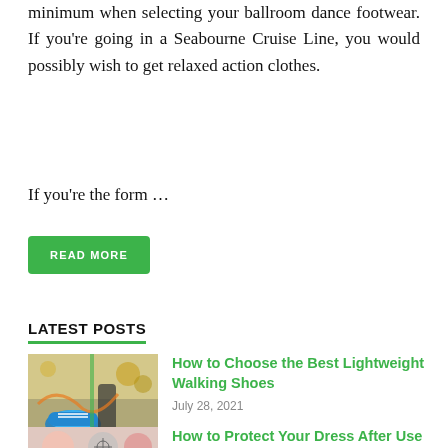minimum when selecting your ballroom dance footwear. If you're going in a Seabourne Cruise Line, you would possibly wish to get relaxed action clothes.
If you're the form …
READ MORE
LATEST POSTS
[Figure (photo): Photo of person walking/running with colorful lightweight shoes]
How to Choose the Best Lightweight Walking Shoes
July 28, 2021
[Figure (photo): Partial photo showing dress-related imagery]
How to Protect Your Dress After Use